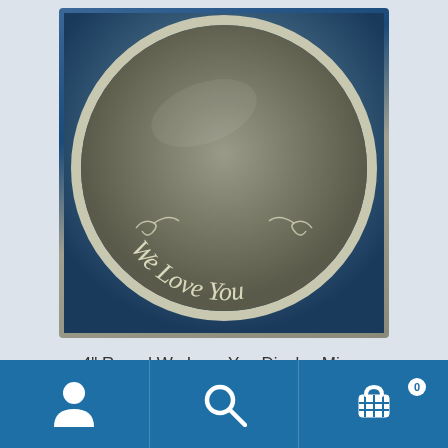[Figure (photo): A round silver display mirror engraved with the text 'We Love You' in cursive script along the bottom, with decorative flourishes on either side, photographed against a blue-grey gradient background.]
4" Round We Love You Display Mirror
$6.00
[Figure (infographic): Bottom navigation bar with three icons: user/account icon on the left, search/magnifying glass in the center, and shopping cart with badge showing '0' on the right.]